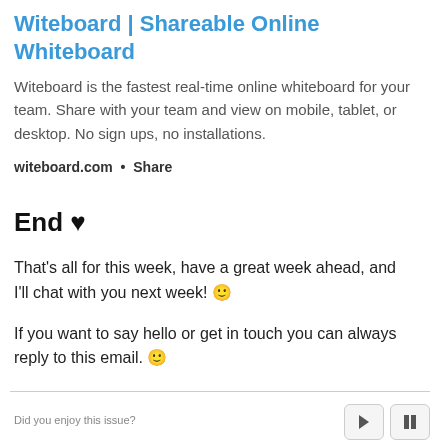Witeboard | Shareable Online Whiteboard
Witeboard is the fastest real-time online whiteboard for your team. Share with your team and view on mobile, tablet, or desktop. No sign ups, no installations.
witeboard.com • Share
End ♥
That's all for this week, have a great week ahead, and I'll chat with you next week! 🙂
If you want to say hello or get in touch you can always reply to this email. 🙂
Did you enjoy this issue?